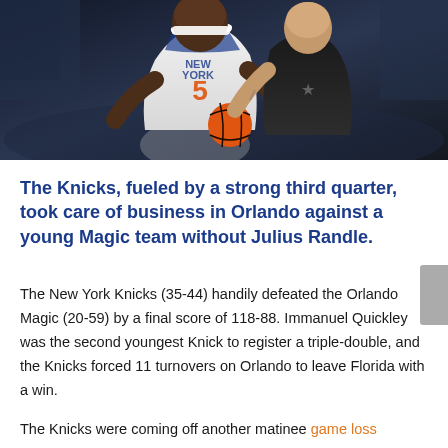[Figure (photo): Two NBA basketball players competing for the ball — one in a New York Knicks white uniform, the other in a dark away uniform. Close-up action shot during a game.]
The Knicks, fueled by a strong third quarter, took care of business in Orlando against a young Magic team without Julius Randle.
The New York Knicks (35-44) handily defeated the Orlando Magic (20-59) by a final score of 118-88. Immanuel Quickley was the second youngest Knick to register a triple-double, and the Knicks forced 11 turnovers on Orlando to leave Florida with a win.
The Knicks were coming off another matinee game loss